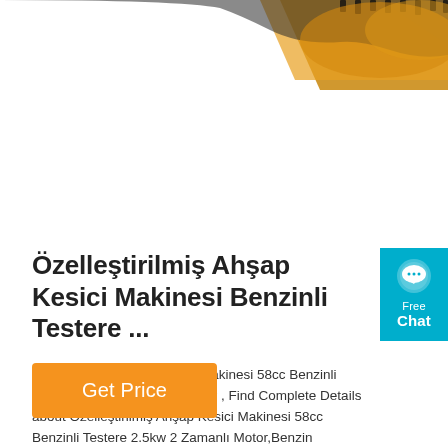[Figure (photo): Partial view of a chainsaw product photo — black blade/chain and golden/orange body visible at top of page, cropped]
[Figure (illustration): Cyan/turquoise chat widget on the right side with a speech bubble icon and text 'Free Chat']
Özelleştirilmiş Ahşap Kesici Makinesi Benzinli Testere ...
Özelleştirilmiş Ahşap Kesici Makinesi 58cc Benzinli Testere 2.5kw 2 Zamanlı Motor , Find Complete Details about Özelleştirilmiş Ahşap Kesici Makinesi 58cc Benzinli Testere 2.5kw 2 Zamanlı Motor,Benzin Testere,Ahşap Kesici Makine,Petrol Benzin Chinsaw 2.5kw 2 Zamanlı Motor from Chainsaw Supplier or Manufacture.
Get Price